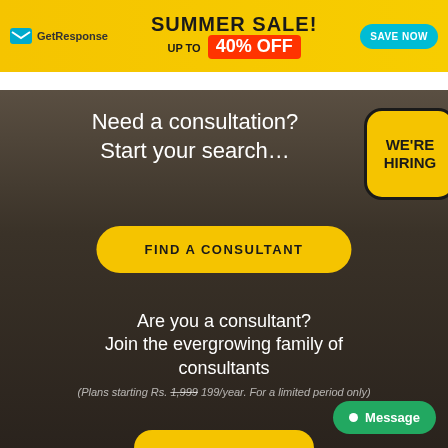[Figure (screenshot): GetResponse summer sale banner ad: yellow background, logo on left, 'SUMMER SALE! UP TO 40% OFF' text in center, man in sunglasses, cyan 'SAVE NOW' button on right]
Need a consultation?
Start your search…
[Figure (infographic): Yellow rounded square badge with black border reading 'WE'RE HIRING' in bold black text]
FIND A CONSULTANT
Are you a consultant?
Join the evergrowing family of consultants
(Plans starting Rs. 1,999 199/year. For a limited period only)
Message